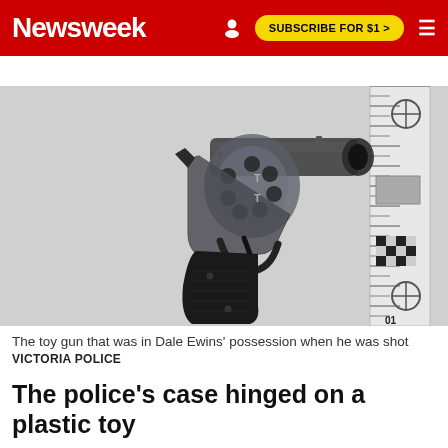Newsweek | SUBSCRIBE FOR $1 >
[Figure (photo): A dark-colored toy revolver handgun photographed against a white background next to a measurement ruler scale. The gun appears translucent/clear plastic with black grip handles. A forensic scale marker reading '01' is visible at the bottom right.]
The toy gun that was in Dale Ewins' possession when he was shot
VICTORIA POLICE
The police's case hinged on a plastic toy